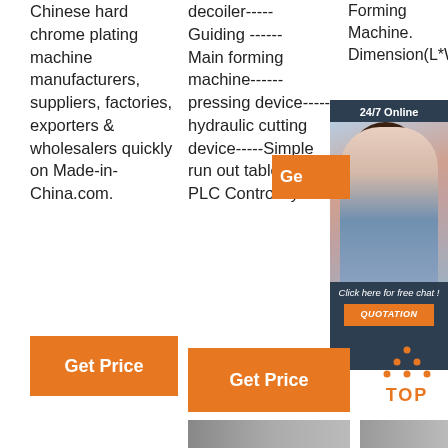Chinese hard chrome plating machine manufacturers, suppliers, factories, exporters & wholesalers quickly on Made-in-China.com.
decoiler----- Guiding ------ Main forming machine------ pressing device----- hydraulic cutting device-----Simple run out table---- PLC Control system
Forming Machine. Dimension(L*W*H):
[Figure (infographic): 24/7 Online chat widget with woman wearing headset, orange Get Price button, and QUOTATION button]
Ge
Get Price
Get Price
[Figure (infographic): TOP button with orange dots arranged in triangle above orange TOP text]
[Figure (photo): Bottom image strip 1]
[Figure (photo): Bottom image strip 2]